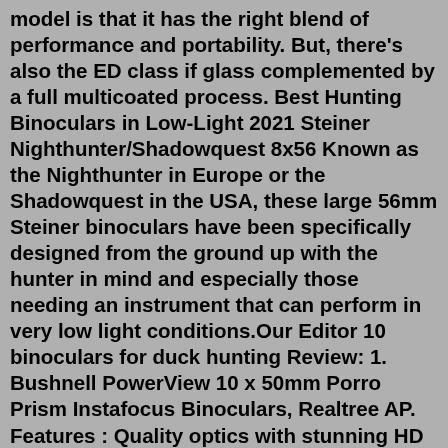model is that it has the right blend of performance and portability. But, there's also the ED class if glass complemented by a full multicoated process. Best Hunting Binoculars in Low-Light 2021 Steiner Nighthunter/Shadowquest 8x56 Known as the Nighthunter in Europe or the Shadowquest in the USA, these large 56mm Steiner binoculars have been specifically designed from the ground up with the hunter in mind and especially those needing an instrument that can perform in very low light conditions.Our Editor 10 binoculars for duck hunting Review: 1. Bushnell PowerView 10 x 50mm Porro Prism Instafocus Binoculars, Realtree AP. Features : Quality optics with stunning HD clarity. 100% quality materials used and tested extensively. Beautiful design and durability built to last. View 10 x 50 millilitre. Jul 26, 2022 · The Best Binoculars For Elk Hunting for Every Budget. 〖FMC BROADBAND COATING TECHNOLOGY〗The lightweight cruise binoculars is cover with BAK4 prism texture. The objective lens optional FMC multilayer and broadband coating film